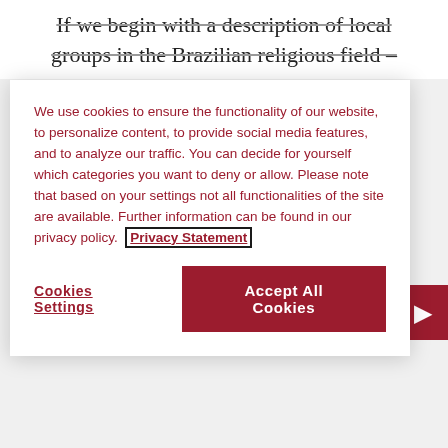If we begin with a description of local groups in the Brazilian religious field –
We use cookies to ensure the functionality of our website, to personalize content, to provide social media features, and to analyze our traffic. You can decide for yourself which categories you want to deny or allow. Please note that based on your settings not all functionalities of the site are available. Further information can be found in our privacy policy. Privacy Statement
Cookies Settings
Accept All Cookies
concepts can be useful, after they have been assessed – often altered or redefined – in the light of fieldwork or other empirical casework.
There is a complex abstract space of relationships between religions and traditions, a metamix of hybridization processes and products. Sticking to